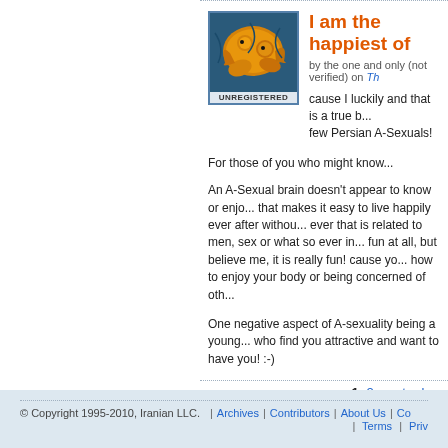[Figure (illustration): Goldfish avatar image with UNREGISTERED label at bottom]
I am the happiest of
by the one and only (not verified) on Th...
cause I luckily and that is a true b... few Persian A-Sexuals!
For those of you who might know...
An A-Sexual brain doesn't appear to know or enjo... that makes it easy to live happily ever after withou... ever that is related to men, sex or what so ever in... fun at all, but believe me, it is really fun! cause yo... how to enjoy your body or being concerned of oth...
One negative aspect of A-sexuality being a young... who find you attractive and want to have you! :-)
1  2  next ›  las...
© Copyright 1995-2010, Iranian LLC.  |  Archives  |  Contributors  |  About Us  |  Co...  |  Terms  |  Priv...